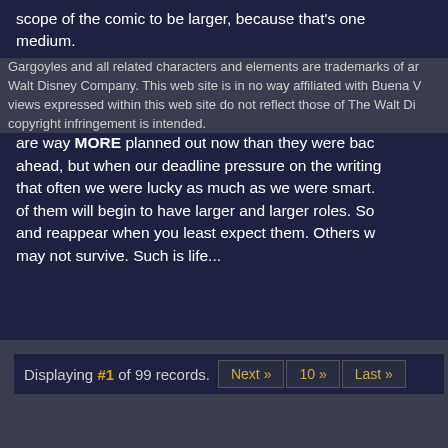scope of the comic to be larger, because that's one of the joys of the medium.

And still, part of it is VERY organic to the universe that was created for the television episodes. Nothing is wasted, and even the ... story ideas for me. (And I've had a decade to muse on this.) Things are way MORE planned out now than they were back when we were ahead, but when our deadline pressure on the writing... that often we were lucky as much as we were smart. ... of them will begin to have larger and larger roles. Some will vanish and reappear when you least expect them. Others w... may not survive. Such is life...
Displaying #1 of 99 records.   Next »   10 »   Last »
Gargoyles and all related characters and elements are trademarks of and © Walt Disney Company. This web site is in no way affiliated with Buena Vista. The views expressed within this web site do not reflect those of The Walt Disney Company. No copyright infringement is intended.